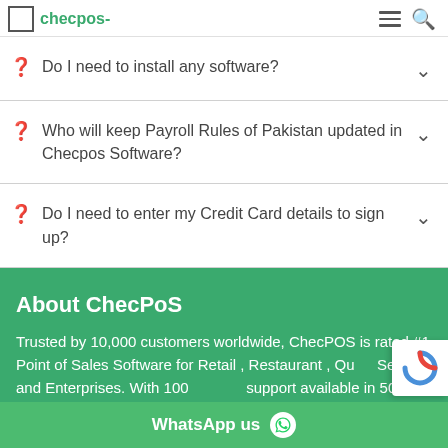checpos-
Do I need to install any software?
Who will keep Payroll Rules of Pakistan updated in Checpos Software?
Do I need to enter my Credit Card details to sign up?
About ChecPoS
Trusted by 10,000 customers worldwide, ChecPOS is rated #1 Point of Sales Software for Retail , Restaurant , Qu... Service and Enterprises. With 100%... support available in 50+ countrie...